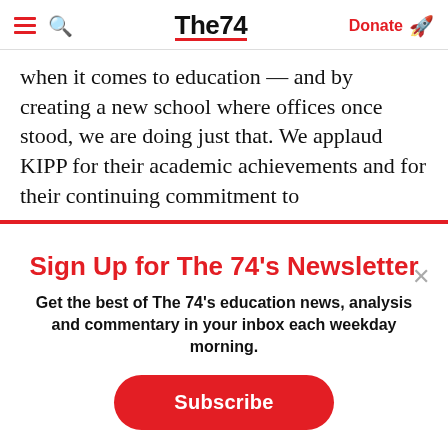The74 — Donate
when it comes to education — and by creating a new school where offices once stood, we are doing just that. We applaud KIPP for their academic achievements and for their continuing commitment to
Sign Up for The 74's Newsletter
Get the best of The 74's education news, analysis and commentary in your inbox each weekday morning.
Subscribe